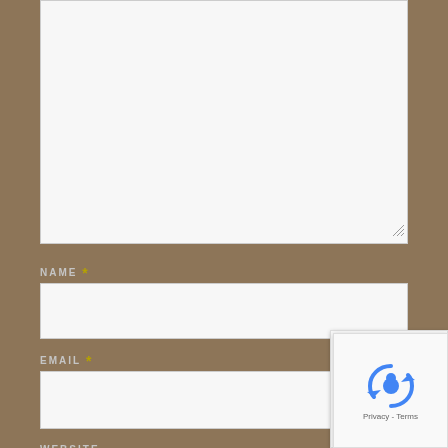[Figure (screenshot): Web form with comment textarea (partially visible at top), NAME field with input box, EMAIL field with input box, WEBSITE label with input box partially visible, a reCAPTCHA badge in the bottom-right corner, and a checkbox with 'CHECK HERE TO SUBSCRIBE TO' text at the bottom. Background is brownish-tan color.]
NAME *
EMAIL *
WEBSITE
CHECK HERE TO SUBSCRIBE TO